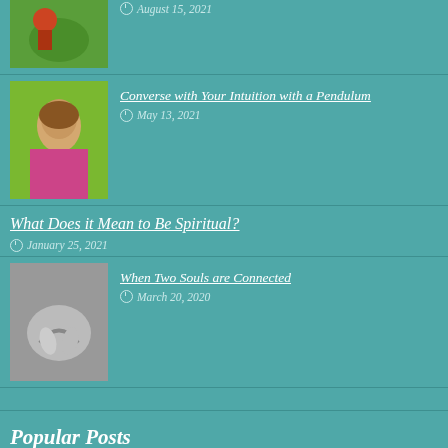[Figure (photo): Partially visible thumbnail of a person outdoors in green grass]
August 15, 2021
[Figure (photo): Woman with brown hair shielding eyes, green background]
Converse with Your Intuition with a Pendulum
May 13, 2021
What Does it Mean to Be Spiritual?
January 25, 2021
[Figure (photo): Black and white photo of two hands touching/holding]
When Two Souls are Connected
March 20, 2020
Popular Posts
[Figure (photo): Various gold and silver pendulums arranged together]
How to Communicate with Spirits thru a Pendulum
October 9, 2015  51,755
[Figure (photo): Dark photo, partially visible at bottom]
Pendulum Reading 101